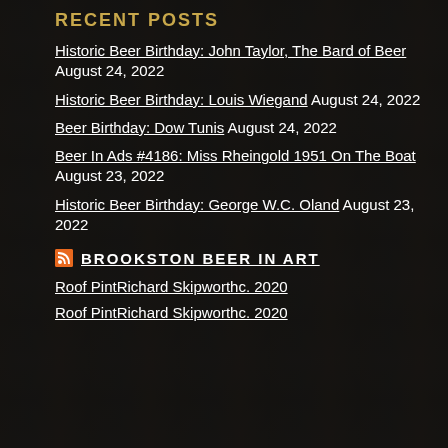RECENT POSTS
Historic Beer Birthday: John Taylor, The Bard of Beer August 24, 2022
Historic Beer Birthday: Louis Wiegand August 24, 2022
Beer Birthday: Dow Tunis August 24, 2022
Beer In Ads #4186: Miss Rheingold 1951 On The Boat August 23, 2022
Historic Beer Birthday: George W.C. Oland August 23, 2022
BROOKSTON BEER IN ART
Roof PintRichard Skipworthc. 2020
Roof PintRichard Skipworthc. 2020